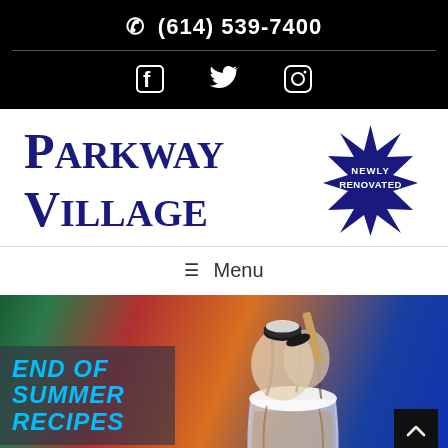(614) 539-7400
[Figure (infographic): Social media icons: Facebook, Twitter, Instagram in white on black background]
Parkway Village
[Figure (illustration): Dark navy starburst/star badge with text NEWLY RENOVATED in white]
Menu
[Figure (photo): Photo of an elaborate milkshake with whipped cream, Oreo cookies, and chocolate drizzle on a colorful blurred background with text overlay END OF SUMMER RECIPES in cyan/blue]